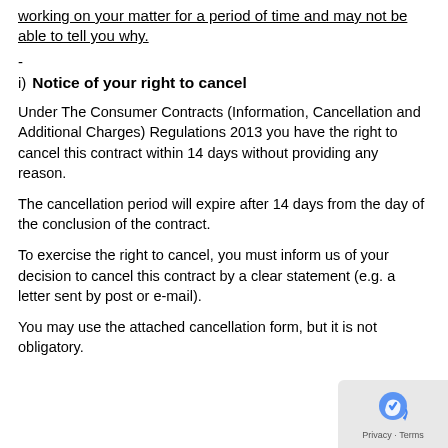working on your matter for a period of time and may not be able to tell you why.
-
i)  Notice of your right to cancel
Under The Consumer Contracts (Information, Cancellation and Additional Charges) Regulations 2013 you have the right to cancel this contract within 14 days without providing any reason.
The cancellation period will expire after 14 days from the day of the conclusion of the contract.
To exercise the right to cancel, you must inform us of your decision to cancel this contract by a clear statement (e.g. a letter sent by post or e-mail).
You may use the attached cancellation form, but it is not obligatory.